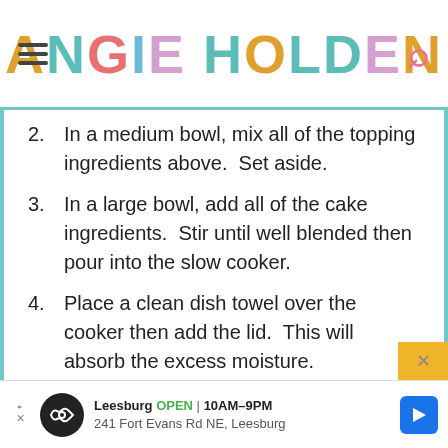ANGIE HOLDEN
2. In a medium bowl, mix all of the topping ingredients above.  Set aside.
3. In a large bowl, add all of the cake ingredients.  Stir until well blended then pour into the slow cooker.
4. Place a clean dish towel over the cooker then add the lid.  This will absorb the excess moisture.
[Figure (screenshot): Advertisement banner for Leesburg store, showing open hours 10AM-9PM and address 241 Fort Evans Rd NE, Leesburg with navigation icon]